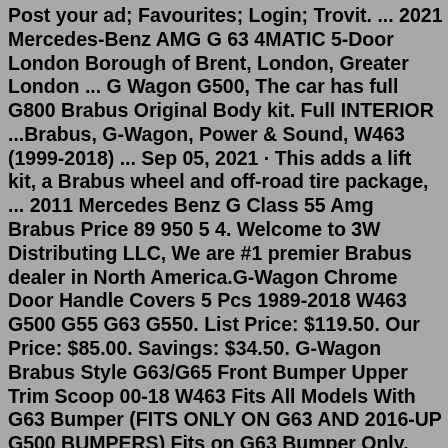Post your ad; Favourites; Login; Trovit. ... 2021 Mercedes-Benz AMG G 63 4MATIC 5-Door London Borough of Brent, London, Greater London ... G Wagon G500, The car has full G800 Brabus Original Body kit. Full INTERIOR ...Brabus, G-Wagon, Power & Sound, W463 (1999-2018) ... Sep 05, 2021 · This adds a lift kit, a Brabus wheel and off-road tire package, ... 2011 Mercedes Benz G Class 55 Amg Brabus Price 89 950 5 4. Welcome to 3W Distributing LLC, We are #1 premier Brabus dealer in North America.G-Wagon Chrome Door Handle Covers 5 Pcs 1989-2018 W463 G500 G55 G63 G550. List Price: $119.50. Our Price: $85.00. Savings: $34.50. G-Wagon Brabus Style G63/G65 Front Bumper Upper Trim Scoop 00-18 W463 Fits All Models With G63 Bumper (FITS ONLY ON G63 AND 2016-UP G500 BUMPERS) Fits on G63 Bumper Only. List Price: $299.00.Find amazing local prices on Mercedes g wagon for sale Shop hassle-free with Gumtree, ... LEFT HAND DRIVE UK REGISTERED AND READY TO GO 2019/69 PLATE MERCEDES G